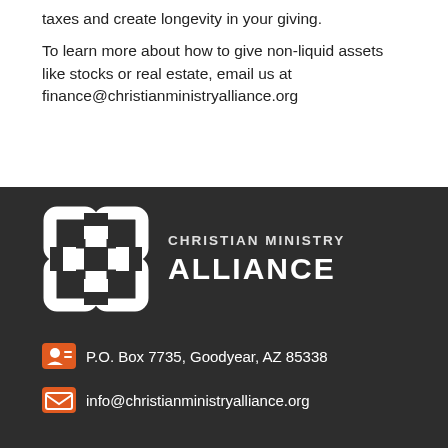taxes and create longevity in your giving.
To learn more about how to give non-liquid assets like stocks or real estate, email us at finance@christianministryalliance.org
[Figure (logo): Christian Ministry Alliance logo — white interlocking chain-link square icon on dark background, with text 'CHRISTIAN MINISTRY ALLIANCE' in white uppercase letters]
P.O. Box 7735, Goodyear, AZ 85338
info@christianministryalliance.org